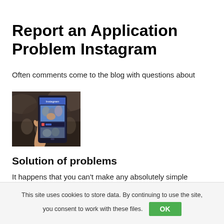Report an Application Problem Instagram
Often comments come to the blog with questions about
[Figure (photo): A hand holding a smartphone displaying an Instagram feed, viewed from above against a blurred crowd background.]
Solution of problems
It happens that you can't make any absolutely simple
This site uses cookies to store data. By continuing to use the site, you consent to work with these files. OK